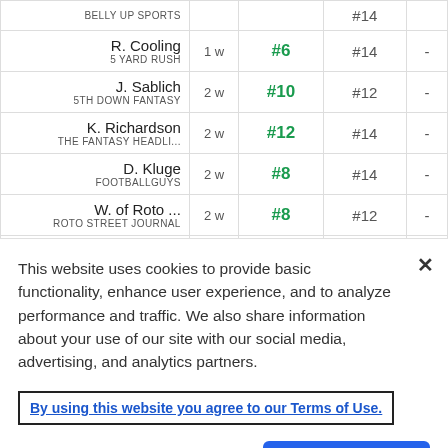| Expert | Age | Current Rank | Previous Rank |  |
| --- | --- | --- | --- | --- |
| BELLY UP SPORTS |  | #12 | #14 | - |
| R. Cooling
5 YARD RUSH | 1 w | #6 | #14 | - |
| J. Sablich
5TH DOWN FANTASY | 2 w | #10 | #12 | - |
| K. Richardson
THE FANTASY HEADLI... | 2 w | #12 | #14 | - |
| D. Kluge
FOOTBALLGUYS | 2 w | #8 | #14 | - |
| W. of Roto ...
ROTO STREET JOURNAL | 2 w | #8 | #12 | - |
| D. McKay
THE FANTASY SPORTS... | 2 w | #10 | #13 | - |
This website uses cookies to provide basic functionality, enhance user experience, and to analyze performance and traffic. We also share information about your use of our site with our social media, advertising, and analytics partners.
By using this website you agree to our Terms of Use.
Do Not Sell My Personal Information
Accept Cookies